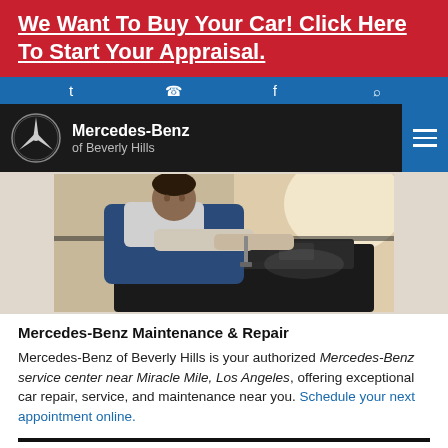We Want To Buy Your Car! Click Here To Start Your Appraisal.
[Figure (screenshot): Blue social media icon bar with Twitter, phone, Facebook, and search icons]
[Figure (logo): Mercedes-Benz of Beverly Hills navigation bar with star logo and hamburger menu]
[Figure (photo): Mechanic leaning over car engine performing maintenance or repair work]
Mercedes-Benz Maintenance & Repair
Mercedes-Benz of Beverly Hills is your authorized Mercedes-Benz service center near Miracle Mile, Los Angeles, offering exceptional car repair, service, and maintenance near you. Schedule your next appointment online.